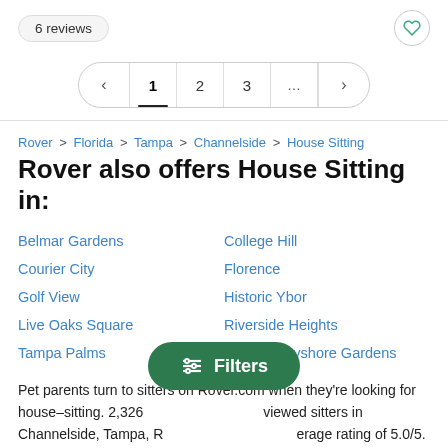6 reviews
< 1 2 3 ... >
Rover > Florida > Tampa > Channelside > House Sitting
Rover also offers House Sitting in:
Belmar Gardens
College Hill
Courier City
Florence
Golf View
Historic Ybor
Live Oaks Square
Riverside Heights
Tampa Palms
Tampa–Bayshore Gardens
Pet parents turn to sitters on Rover.com when they're looking for house–sitting. 2,326 reviewed sitters in Channelside, Tampa, average rating of 5.0/5. Since 92% of pet owners short drive of a sitter on Rover, it's easy to find the perfect house sitter near you. 95% of
[Figure (screenshot): Green Filters button overlay]